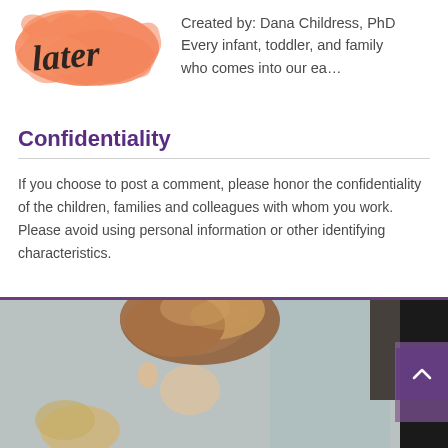[Figure (logo): Orange watercolor splash with cursive 'later' text in black, logo for a blog or resource]
Created by: Dana Childress, PhD
Every infant, toddler, and family who comes into our ea…
Confidentiality
If you choose to post a comment, please honor the confidentiality of the children, families and colleagues with whom you work. Please avoid using personal information or other identifying characteristics.
[Figure (photo): Photo of a woman with auburn hair in a bun, viewed from behind/side, with a child, near a window]